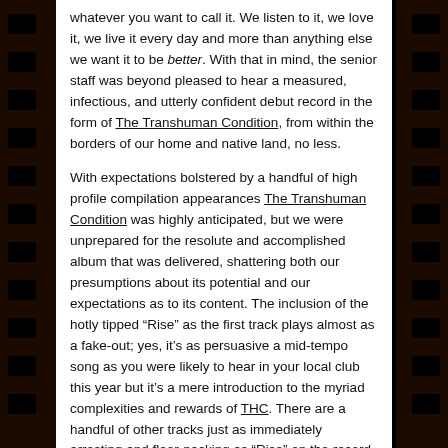whatever you want to call it. We listen to it, we love it, we live it every day and more than anything else we want it to be better. With that in mind, the senior staff was beyond pleased to hear a measured, infectious, and utterly confident debut record in the form of The Transhuman Condition, from within the borders of our home and native land, no less.
With expectations bolstered by a handful of high profile compilation appearances The Transhuman Condition was highly anticipated, but we were unprepared for the resolute and accomplished album that was delivered, shattering both our presumptions about its potential and our expectations as to its content. The inclusion of the hotly tipped "Rise" as the first track plays almost as a fake-out; yes, it's as persuasive a mid-tempo song as you were likely to hear in your local club this year but it's a mere introduction to the myriad complexities and rewards of THC. There are a handful of other tracks just as immediately arresting and floor-packing as "Rise" on the record, from the "complete with trance